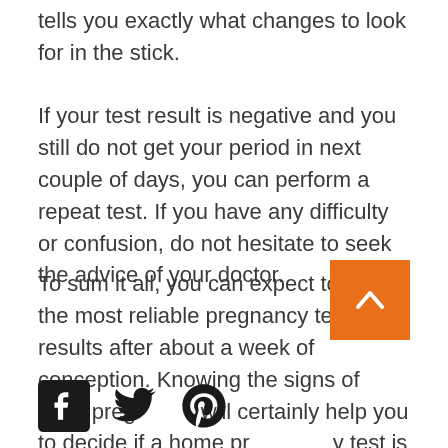tells you exactly what changes to look for in the stick.
If your test result is negative and you still do not get your period in next couple of days, you can perform a repeat test. If you have any difficulty or confusion, do not hesitate to seek the advice of your doctor.
To sum it all, you can expect to get the most reliable pregnancy test results after about a week of conception. Knowing the signs of early pregnancy will certainly help you to decide if a home pregnancy test is necessary.
[Figure (infographic): Social media share icons: Facebook, Twitter, Pinterest]